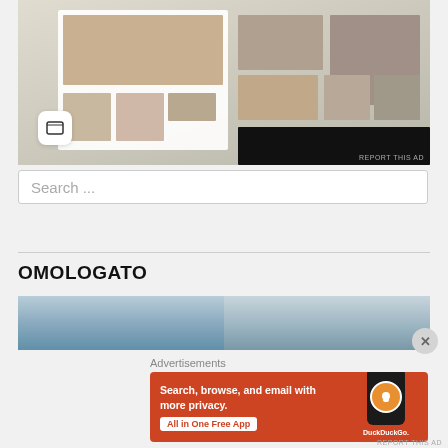[Figure (screenshot): Advertisement screenshot showing a food/recipe website or app with food photography and a small app icon in the lower left, with 'REPORT THIS AD' link at bottom right]
REPORT THIS AD
Search ...
OMOLOGATO
[Figure (photo): Horizontal banner photo showing an outdoor sky/water scene split into two halves]
Advertisements
[Figure (screenshot): DuckDuckGo advertisement: orange background with white text 'Search, browse, and email with more privacy. All in One Free App' and DuckDuckGo logo with duck icon on phone image]
REPORT THIS AD